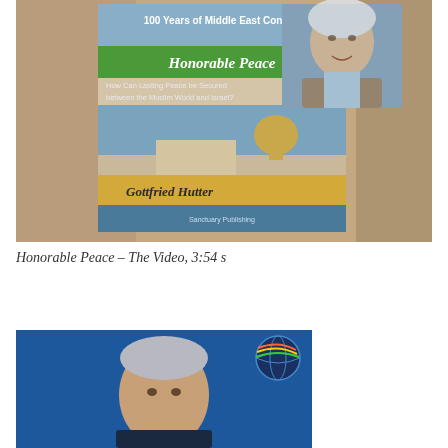[Figure (photo): A composite image showing a book cover titled 'Honorable Peace – 100 Years of Middle East Conflict' by Gottfried Hutter with subtitle 'How Can Lasting Peace be Secured between the Muslim World and Israel?' featuring an image of Jerusalem's Western Wall and Dome of the Rock. In the upper right corner is a photo of an elderly man with curly grey-white hair wearing a brown blazer over a light blue shirt.]
Honorable Peace – The Video, 3:54 s
[Figure (photo): A partial screenshot or video thumbnail showing an elderly man against a blue background, with a circular globe-like logo in the upper right corner.]